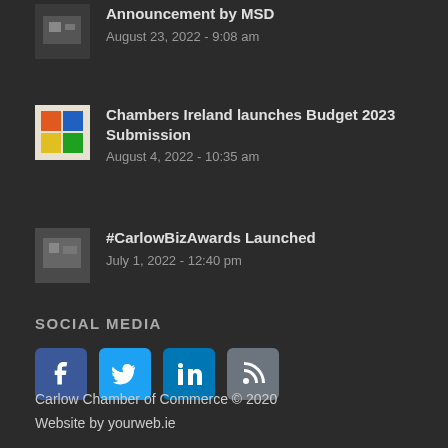Announcement by MSD
August 23, 2022 - 9:08 am
Chambers Ireland launches Budget 2023 Submission
August 4, 2022 - 10:35 am
#CarlowBizAwards Launched
July 1, 2022 - 12:40 pm
SOCIAL MEDIA
[Figure (infographic): Social media icons for Facebook, Twitter, LinkedIn, and RSS feed]
Carlow Chamber of Commerce © 2020
Website by yourweb.ie